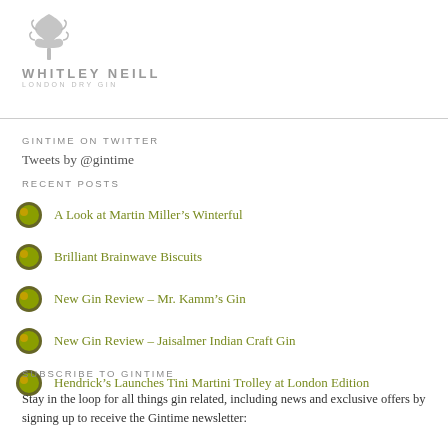[Figure (logo): Whitley Neill London Dry Gin logo with tree/plant graphic above text]
GINTIME ON TWITTER
Tweets by @gintime
RECENT POSTS
A Look at Martin Miller’s Winterful
Brilliant Brainwave Biscuits
New Gin Review – Mr. Kamm’s Gin
New Gin Review – Jaisalmer Indian Craft Gin
Hendrick’s Launches Tini Martini Trolley at London Edition
SUBSCRIBE TO GINTIME
Stay in the loop for all things gin related, including news and exclusive offers by signing up to receive the Gintime newsletter: